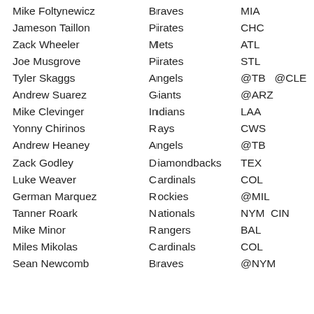| Player | Team | Opponent(s) |
| --- | --- | --- |
| Mike Foltynewicz | Braves | MIA |
| Jameson Taillon | Pirates | CHC |
| Zack Wheeler | Mets | ATL |
| Joe Musgrove | Pirates | STL |
| Tyler Skaggs | Angels | @TB  @CLE |
| Andrew Suarez | Giants | @ARZ |
| Mike Clevinger | Indians | LAA |
| Yonny Chirinos | Rays | CWS |
| Andrew Heaney | Angels | @TB |
| Zack Godley | Diamondbacks | TEX |
| Luke Weaver | Cardinals | COL |
| German Marquez | Rockies | @MIL |
| Tanner Roark | Nationals | NYM  CIN |
| Mike Minor | Rangers | BAL |
| Miles Mikolas | Cardinals | COL |
| Sean Newcomb | Braves | @NYM |